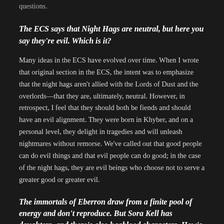questions.
The ECS says that Night Hags are neutral, but here you say they're evil. Which is it?
Many ideas in the ECS have evolved over time. When I wrote that original section in the ECS, the intent was to emphasize that the night hags aren't allied with the Lords of Dust and the overlords—that they are, ultimately, neutral. However, in retrospect, I feel that they should both be fiends and should have an evil alignment. They were born in Khyber, and on a personal level, they delight in tragedies and will unleash nightmares without remorse. We've called out that good people can do evil things and that evil people can do good; in the case of the night hags, they are evil beings who choose not to serve a greater good or greater evil.
The immortals of Eberron draw from a finite pool of energy and don't reproduce. But Sora Kell has daughters, and there's also hagblood characters. How's this work?